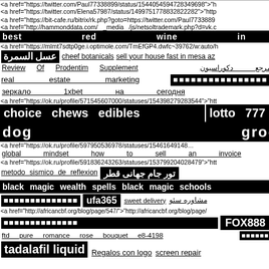<a href="https://twitter.com/Paul77338899/status/1544054594728349698">"h
<a href="https://twitter.com/Elena57987/status/1499751778832822282">"http
<a href="https://bit-cafe.ru/bitrix/rk.php?goto=https://twitter.com/Paul77338899
<a href="http://hammonddata.com/__media__/js/netsoltrademark.php?d=vk.c
best   red   wine   in   singapore
<a href="https://mlmt7sdtp0ge.i.optimole.com/TmEfGP4.dwfc~39762/w:auto/h
عسل السمرة   cheef botanicals   sell your house fast in mesa az
Review   Of   Prodentim   Supplement   مرجع دکوراسیون
real   estate   marketing   [black squares]
зеркало   1xbet   на   сегодня
<a href="https://ok.ru/profile/571545607000/statuses/154398279283544">"htt
choice   chews   edibles   lotto   777
dog   grooming   nyc
<a href="https://ok.ru/profile/597950536978/statuses/154616491489
global   mindset   how   to   sell   an   invoice
<a href="https://ok.ru/profile/591836243263/statuses/153799204028479">"htt
metodo sismico de reflexion   تور جام جهانی قطر
black magic wealth spells black magic schools
[squares]   ufa365   sweet delivery   مشاوره سئو
<a href="http://africancbf.org/blog/page/547/">"http://africancbf.org/blog/page/
[squares]   FOX888
ftd   pure   romance   rose   bouquet   e8-4198   [squares]
tadalafil liquid   Regalos con logo   screen repair